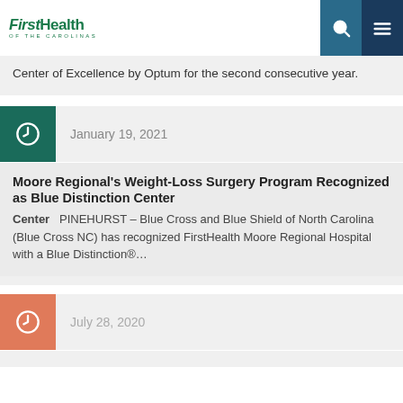FirstHealth OF THE CAROLINAS
Center of Excellence by Optum for the second consecutive year.
January 19, 2021
Moore Regional's Weight-Loss Surgery Program Recognized as Blue Distinction Center
PINEHURST – Blue Cross and Blue Shield of North Carolina (Blue Cross NC) has recognized FirstHealth Moore Regional Hospital with a Blue Distinction®…
July 28, 2020